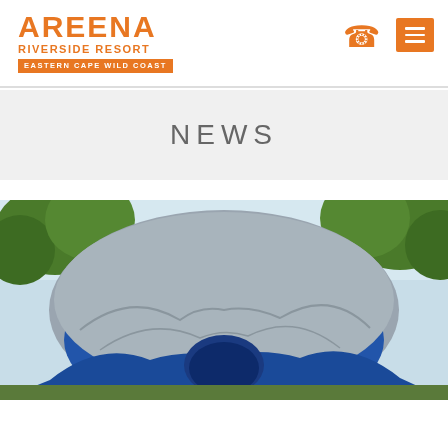AREENA RIVERSIDE RESORT EASTERN CAPE WILD COAST
NEWS
[Figure (photo): Close-up photograph of a large blue dome tent with grey rain cover, surrounded by trees in an outdoor camping setting]